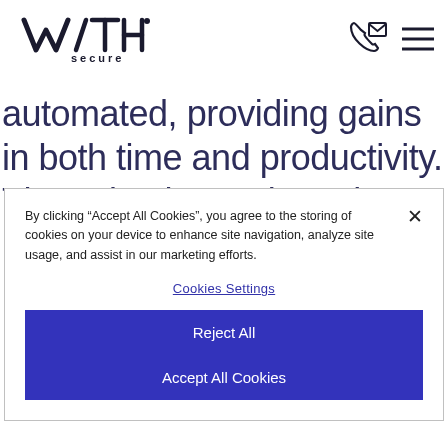[Figure (logo): WithSecure logo — stylized W/TH text with 'secure' beneath, plus phone/mail icon and hamburger menu icon]
automated, providing gains in both time and productivity. The suite they selected provides the company with simple, effective updates as well as management of endpoints and vulnerabilities in a
By clicking “Accept All Cookies”, you agree to the storing of cookies on your device to enhance site navigation, analyze site usage, and assist in our marketing efforts.
Cookies Settings
Reject All
Accept All Cookies